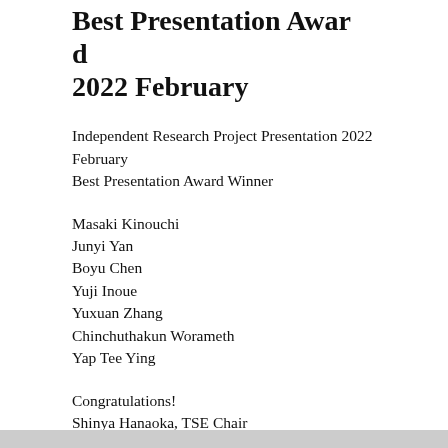Best Presentation Award 2022 February
Independent Research Project Presentation 2022 February
Best Presentation Award Winner
Masaki Kinouchi
Junyi Yan
Boyu Chen
Yuji Inoue
Yuxuan Zhang
Chinchuthakun Worameth
Yap Tee Ying
Congratulations!
Shinya Hanaoka, TSE Chair